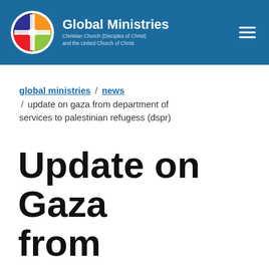Global Ministries | Christian Church (Disciples of Christ) and the United Church of Christ
global ministries / news / update on gaza from department of services to palestinian refugess (dspr)
Update on Gaza from Department of Services to Palestinian Refugees (DSPR)